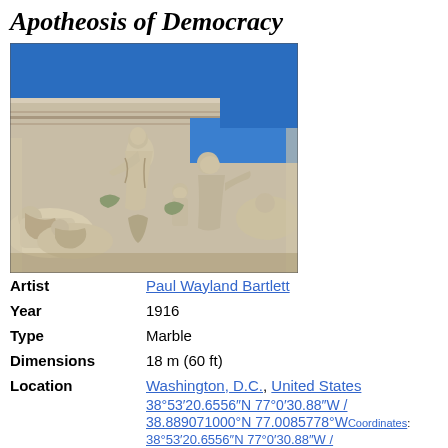Apotheosis of Democracy
[Figure (photo): Photograph of the Apotheosis of Democracy marble relief sculpture on a building pediment, showing classical figures against a blue sky background]
| Field | Value |
| --- | --- |
| Artist | Paul Wayland Bartlett |
| Year | 1916 |
| Type | Marble |
| Dimensions | 18 m (60 ft) |
| Location | Washington, D.C., United States 38°53′20.6556″N 77°0′30.88″W / 38.889071000°N 77.0085778°W Coordinates: 38°53′20.6556″N 77°0′30.88″W / |